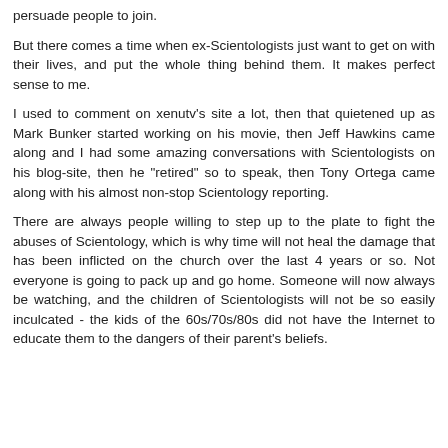persuade people to join.
But there comes a time when ex-Scientologists just want to get on with their lives, and put the whole thing behind them. It makes perfect sense to me.
I used to comment on xenutv's site a lot, then that quietened up as Mark Bunker started working on his movie, then Jeff Hawkins came along and I had some amazing conversations with Scientologists on his blog-site, then he "retired" so to speak, then Tony Ortega came along with his almost non-stop Scientology reporting.
There are always people willing to step up to the plate to fight the abuses of Scientology, which is why time will not heal the damage that has been inflicted on the church over the last 4 years or so. Not everyone is going to pack up and go home. Someone will now always be watching, and the children of Scientologists will not be so easily inculcated - the kids of the 60s/70s/80s did not have the Internet to educate them to the dangers of their parent's beliefs.